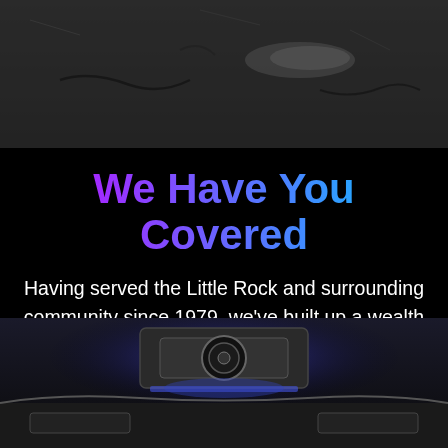[Figure (photo): Top photo showing a dark ground surface with plastic wrap/bag and wires visible on a concrete or asphalt surface]
We Have You Covered
Having served the Little Rock and surrounding community since 1979, we've built up a wealth of knowledge and skills to bring any of your mobile audio, video or safety needs to life.
[Figure (photo): Bottom photo showing the underside/trunk area of a vehicle with car audio/subwoofer equipment illuminated by blue light]